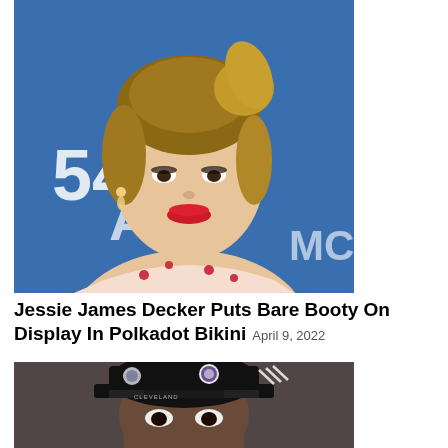[Figure (photo): Portrait photo of Jessie James Decker at a red carpet event, smiling, with a high ponytail, wearing a floral outfit, against a blue backdrop with '54 AC' text visible]
Jessie James Decker Puts Bare Booty On Display In Polkadot Bikini April 9, 2022
[Figure (photo): Close-up photo of a man wearing a black snapback cap with a badge/logo, looking ahead, blurred background]